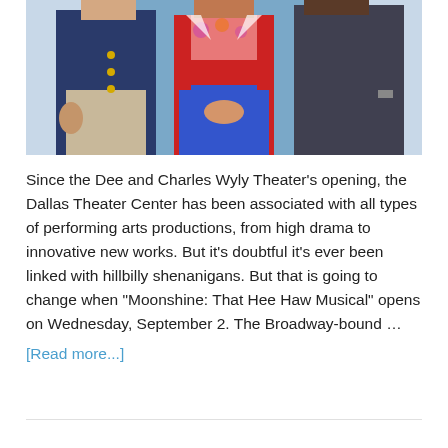[Figure (photo): Three people standing together in formal attire. Left person in navy blazer with gold buttons, center person in red jacket and blue skirt with floral top, right person in dark gray suit.]
Since the Dee and Charles Wyly Theater's opening, the Dallas Theater Center has been associated with all types of performing arts productions, from high drama to innovative new works. But it's doubtful it's ever been linked with hillbilly shenanigans. But that is going to change when "Moonshine: That Hee Haw Musical" opens on Wednesday, September 2. The Broadway-bound … [Read more...]